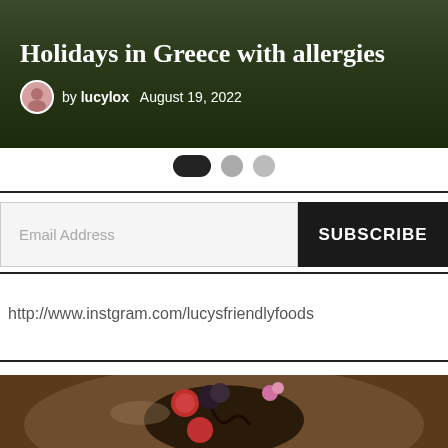[Figure (photo): Hero banner image with dark green foliage background showing title 'Holidays in Greece with allergies' and author byline 'by lucylox August 19, 2022' with avatar]
Holidays in Greece with allergies
by lucylox   August 19, 2022
[Figure (infographic): Slider navigation dots: one black pill/active dot and two gray circular dots]
Email Address
SUBSCRIBE
http://www.instgram.com/lucysfriendlyfoods
[Figure (photo): Close-up photo of a chocolate dessert with raspberries, blackberries and a pink flower on a plate]